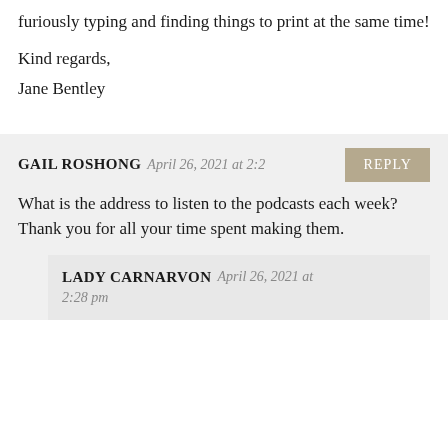furiously typing and finding things to print at the same time!
Kind regards,
Jane Bentley
GAIL ROSHONG April 26, 2021 at 2:2... REPLY
What is the address to listen to the podcasts each week?
Thank you for all your time spent making them.
LADY CARNARVON April 26, 2021 at 2:28 pm